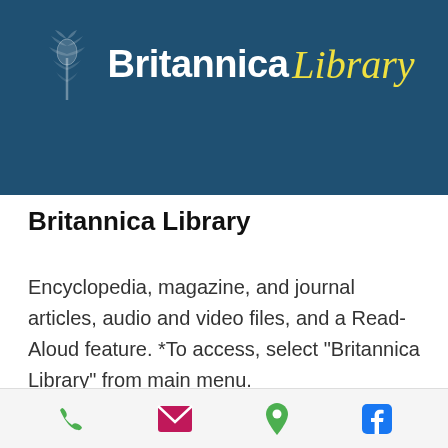[Figure (logo): Britannica Library logo on dark teal/navy background. Features a decorative thistle/wheat graphic on the left, 'Britannica' in white bold sans-serif, and 'Library' in yellow italic script.]
Britannica Library
Encyclopedia, magazine, and journal articles, audio and video files, and a Read-Aloud feature. *To access, select "Britannica Library" from main menu.
[Figure (infographic): Footer bar with four icons: green phone icon, pink/magenta envelope icon, green location pin icon, blue Facebook icon.]